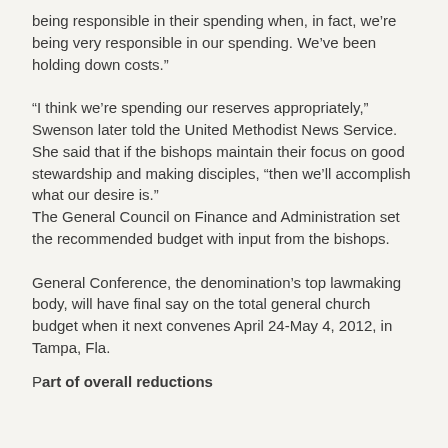being responsible in their spending when, in fact, we’re being very responsible in our spending. We’ve been holding down costs.”
“I think we’re spending our reserves appropriately,” Swenson later told the United Methodist News Service. She said that if the bishops maintain their focus on good stewardship and making disciples, “then we’ll accomplish what our desire is.” The General Council on Finance and Administration set the recommended budget with input from the bishops.
General Conference, the denomination’s top lawmaking body, will have final say on the total general church budget when it next convenes April 24-May 4, 2012, in Tampa, Fla.
Part of overall reductions